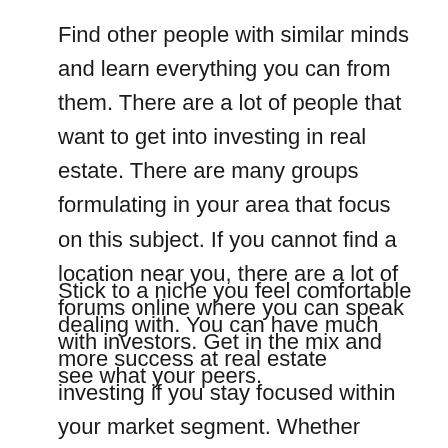Find other people with similar minds and learn everything you can from them. There are a lot of people that want to get into investing in real estate. There are many groups formulating in your area that focus on this subject. If you cannot find a location near you, there are a lot of forums online where you can speak with investors. Get in the mix and see what your peers.
Stick to a niche you feel comfortable dealing with. You can have much more success at real estate investing if you stay focused within your market segment. Whether you're buying and selling homes, low down payment investments, or starter homes,